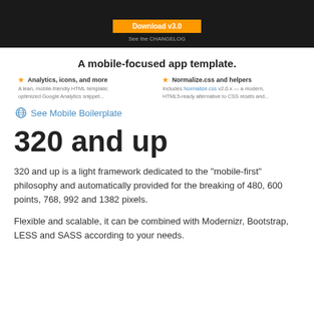[Figure (screenshot): Dark banner with orange button and 'See the CHANGELOG' link]
A mobile-focused app template.
Analytics, icons, and more — A lean, mobile-friendly HTML template; optimized Google Analytics snippet...
Normalize.css and helpers — Includes Normalize.css v2.0.x — a modern, HTML5-ready alternative to CSS resets and...
🌐 See Mobile Boilerplate
320 and up
320 and up is a light framework dedicated to the "mobile-first" philosophy and automatically provided for the breaking of 480, 600 points, 768, 992 and 1382 pixels.
Flexible and scalable, it can be combined with Modernizr, Bootstrap, LESS and SASS according to your needs.